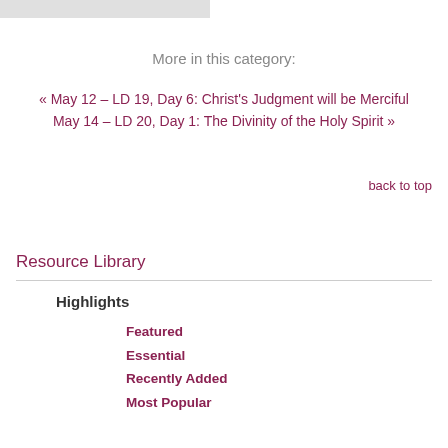More in this category:
« May 12 – LD 19, Day 6: Christ's Judgment will be Merciful
May 14 – LD 20, Day 1: The Divinity of the Holy Spirit »
back to top
Resource Library
Highlights
Featured
Essential
Recently Added
Most Popular